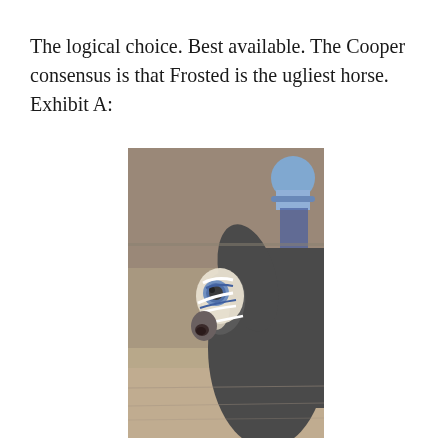The logical choice. Best available. The Cooper consensus is that Frosted is the ugliest horse. Exhibit A:
[Figure (photo): Close-up photograph of a racehorse named Frosted wearing a white and blue bridle/blinker hood with a blue fabric eye cover, with a jockey wearing a blue cap visible in the background. The horse appears grey/dark colored and is photographed on a dirt track.]